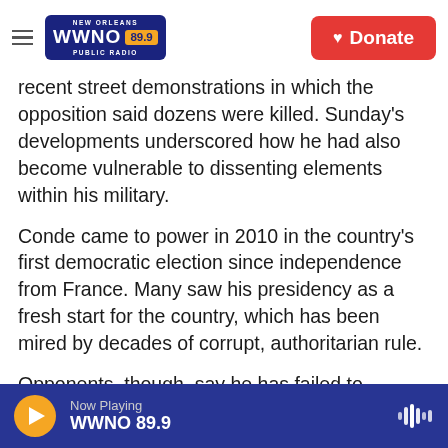NEW ORLEANS WWNO 89.9 PUBLIC RADIO | Donate
recent street demonstrations in which the opposition said dozens were killed. Sunday's developments underscored how he had also become vulnerable to dissenting elements within his military.
Conde came to power in 2010 in the country's first democratic election since independence from France. Many saw his presidency as a fresh start for the country, which has been mired by decades of corrupt, authoritarian rule.
Opponents, though, say he has failed to improve the lives of Guineans, most of whom live in poverty
Now Playing WWNO 89.9